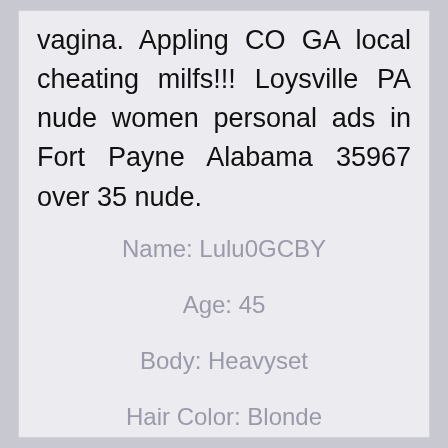vagina. Appling CO GA local cheating milfs!!! Loysville PA nude women personal ads in Fort Payne Alabama 35967 over 35 nude.
Name: Lulu0GCBY
Age: 45
Body: Heavyset
Hair Color: Blonde
Status: Connected